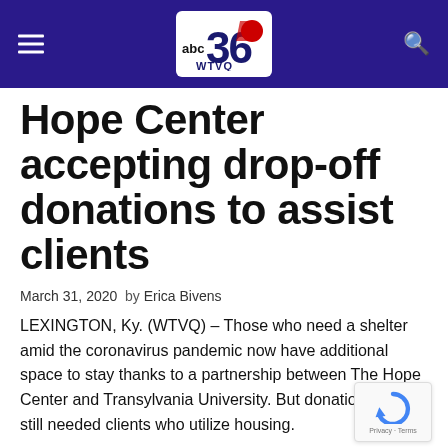[Figure (logo): ABC 36 WTVQ news station logo with blue/red/white design on dark purple header bar with hamburger menu icon on left and search icon on right]
Hope Center accepting drop-off donations to assist clients
March 31, 2020  by Erica Bivens
LEXINGTON, Ky. (WTVQ) – Those who need a shelter amid the coronavirus pandemic now have additional space to stay thanks to a partnership between The Hope Center and Transylvania University. But donations are still needed clients who utilize housing.